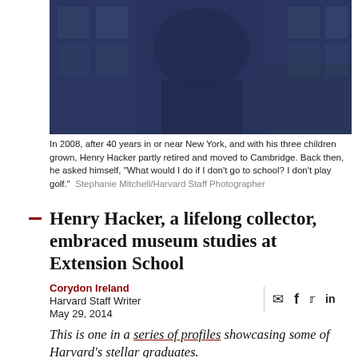[Figure (photo): Partial photo of a person in a dark navy blue top standing in front of a building with grid windows]
In 2008, after 40 years in or near New York, and with his three children grown, Henry Hacker partly retired and moved to Cambridge. Back then, he asked himself, "What would I do if I don't go to school? I don't play golf."  Stephanie Mitchell/Harvard Staff Photographer
Henry Hacker, a lifelong collector, embraced museum studies at Extension School
Corydon Ireland
Harvard Staff Writer
May 29, 2014
This is one in a series of profiles showcasing some of Harvard's stellar graduates.